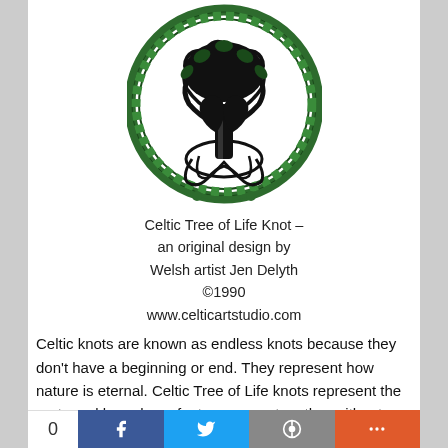[Figure (illustration): Celtic Tree of Life Knot — circular Celtic knotwork design with a stylized tree, roots and branches intertwined inside a decorative green and black circular border, original design by Welsh artist Jen Delyth ©1990]
Celtic Tree of Life Knot – an original design by Welsh artist Jen Delyth ©1990 www.celticartstudio.com
Celtic knots are known as endless knots because they don't have a beginning or end. They represent how nature is eternal. Celtic Tree of Life knots represent the roots and branches of a tree woven together without end, showing the continuous cycle of life on earth.
The Celtic Tree of Life knot is a popular design for tapestries and tattoos because of its association with positive energy.